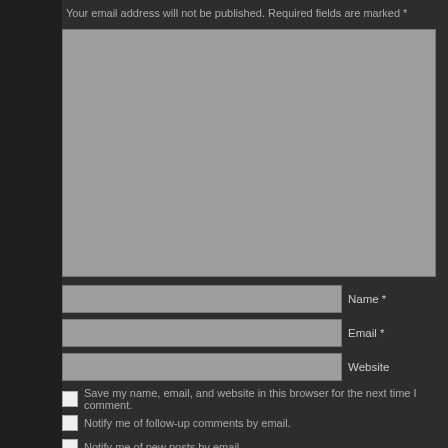Your email address will not be published. Required fields are marked *
[Figure (screenshot): Gray comment textarea input box]
Name *
Email *
Website
Save my name, email, and website in this browser for the next time I comment.
Notify me of follow-up comments by email.
Notify me of new posts by email.